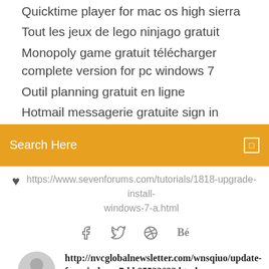Agrandir une image sans perte de qualité photoshop
Quicktime player for mac os high sierra
Tout les jeux de lego ninjago gratuit
Monopoly game gratuit télécharger complete version for pc windows 7
Outil planning gratuit en ligne
Hotmail messagerie gratuite sign in
[Figure (screenshot): Orange search bar with 'Search Here' placeholder text and a square search icon on the right]
https://www.sevenforums.com/tutorials/1818-upgrade-install-windows-7-a.html
Social icons: facebook, twitter, dribbble, behance
http://nvcglobalnewsletter.com/wnsqiuo/update-for-windows-7-kb25533623.html
What do I do if Windows 7 Service Pack 1 won't